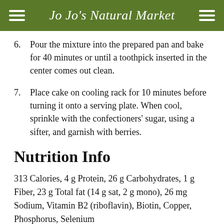Jo Jo's Natural Market
6. Pour the mixture into the prepared pan and bake for 40 minutes or until a toothpick inserted in the center comes out clean.
7. Place cake on cooling rack for 10 minutes before turning it onto a serving plate. When cool, sprinkle with the confectioners' sugar, using a sifter, and garnish with berries.
Nutrition Info
313 Calories, 4 g Protein, 26 g Carbohydrates, 1 g Fiber, 23 g Total fat (14 g sat, 2 g mono), 26 mg Sodium, Vitamin B2 (riboflavin), Biotin, Copper, Phosphorus, Selenium